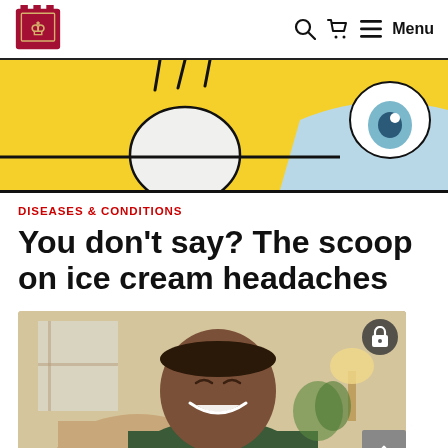Harvard Health Publishing — Menu
[Figure (illustration): Cartoon/illustration of a person eating ice cream, yellow and light blue colors, close-up of face with wide eyes]
DISEASES & CONDITIONS
You don't say? The scoop on ice cream headaches
[Figure (photo): Smiling older Black man sitting in a tan armchair indoors, wearing a dark green shirt, with lamps and plants in the background. A lock badge icon is overlaid at the top right of the image.]